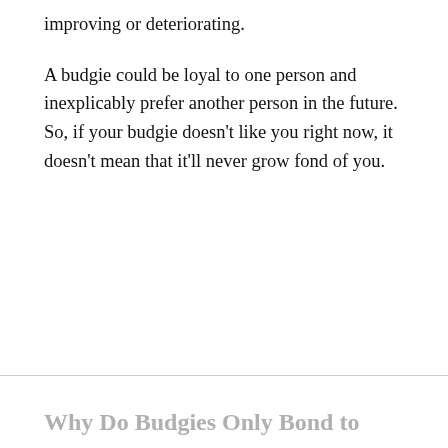improving or deteriorating.
A budgie could be loyal to one person and inexplicably prefer another person in the future. So, if your budgie doesn't like you right now, it doesn't mean that it'll never grow fond of you.
Why Do Budgies Only Bond to